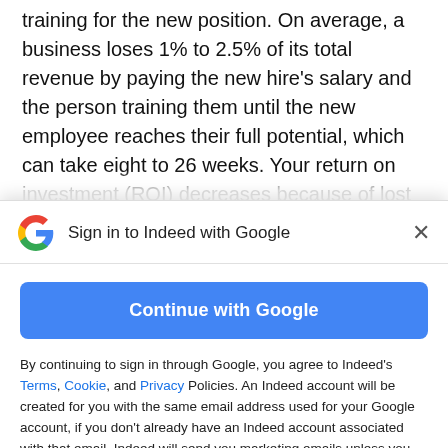training for the new position. On average, a business loses 1% to 2.5% of its total revenue by paying the new hire's salary and the person training them until the new employee reaches their full potential, which can take eight to 26 weeks. Your return on investment (ROI) decreases because of lost productivity. While other employees can help maintain production during this time, their productivity in their own positions might decrease, as
Sign in to Indeed with Google
Continue with Google
By continuing to sign in through Google, you agree to Indeed's Terms, Cookie, and Privacy Policies. An Indeed account will be created for you with the same email address used for your Google account, if you don't already have an Indeed account associated with that email. Indeed will send you marketing emails unless you object to these and you can unsubscribe at any time.